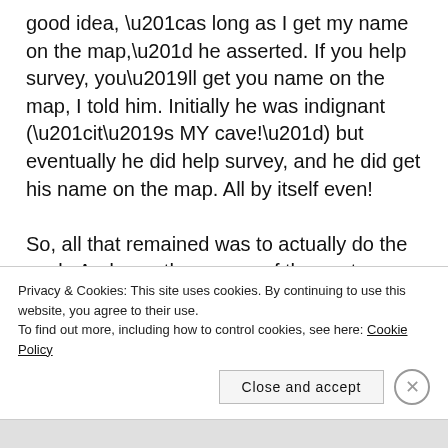good idea, “as long as I get my name on the map,” he asserted. If you help survey, you’ll get you name on the map, I told him. Initially he was indignant (“it’s MY cave!”) but eventually he did help survey, and he did get his name on the map. All by itself even!

So, all that remained was to actually do the work. And over the course of the next year or so, we did just that.

That first trip it was, I think, me, Shell and her friend Wanda Warren, and Mark Deebel, now probably best
Privacy & Cookies: This site uses cookies. By continuing to use this website, you agree to their use.
To find out more, including how to control cookies, see here: Cookie Policy
Close and accept